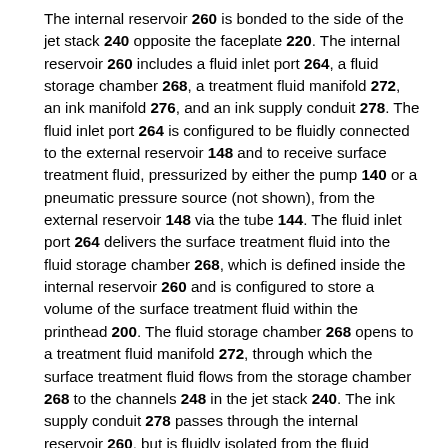The internal reservoir 260 is bonded to the side of the jet stack 240 opposite the faceplate 220. The internal reservoir 260 includes a fluid inlet port 264, a fluid storage chamber 268, a treatment fluid manifold 272, an ink manifold 276, and an ink supply conduit 278. The fluid inlet port 264 is configured to be fluidly connected to the external reservoir 148 and to receive surface treatment fluid, pressurized by either the pump 140 or a pneumatic pressure source (not shown), from the external reservoir 148 via the tube 144. The fluid inlet port 264 delivers the surface treatment fluid into the fluid storage chamber 268, which is defined inside the internal reservoir 260 and is configured to store a volume of the surface treatment fluid within the printhead 200. The fluid storage chamber 268 opens to a treatment fluid manifold 272, through which the surface treatment fluid flows from the storage chamber 268 to the channels 248 in the jet stack 240. The ink supply conduit 278 passes through the internal reservoir 260, but is fluidly isolated from the fluid storage chamber 268, to enable ink to flow from the ink reservoir 280 to the ink manifold 276 for ejection from the inkjet ejectors. Although the embodiment illustrated in FIG. 1 depicts the ink manifold 276 within the internal reservoir 260, in other